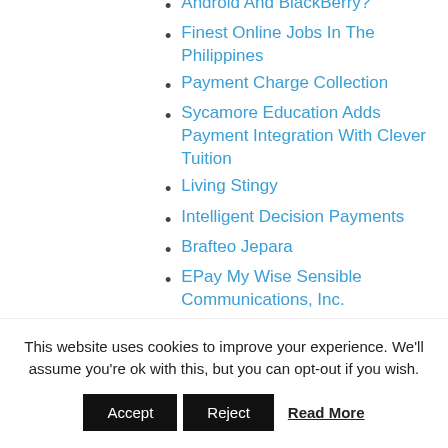Android And BlackBerry?
Finest Online Jobs In The Philippines
Payment Charge Collection
Sycamore Education Adds Payment Integration With Clever Tuition
Living Stingy
Intelligent Decision Payments
Brafteo Jepara
EPay My Wise Sensible Communications, Inc.
Sample Contest Guidelines For Sweepstakes, Giveaways & On-line Contests
This website uses cookies to improve your experience. We'll assume you're ok with this, but you can opt-out if you wish.
Accept | Reject | Read More